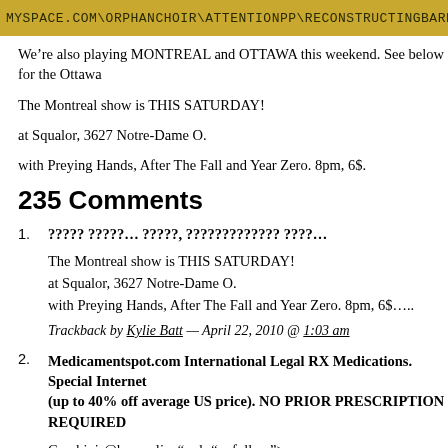[Figure (screenshot): Yellow/gold banner with handwritten-style text: MYSPACE.COM\ORPHANCHOIR\ATTENTIONPP\RECONSTRUCTINGBARRIER]
We’re also playing MONTREAL and OTTAWA this weekend. See below for the Ottawa
The Montreal show is THIS SATURDAY!
at Squalor, 3627 Notre-Dame O.
with Preying Hands, After The Fall and Year Zero. 8pm, 6$.
235 Comments
1. ????? ?????... ?????, ????????????? ????...

The Montreal show is THIS SATURDAY!
at Squalor, 3627 Notre-Dame O.
with Preying Hands, After The Fall and Year Zero. 8pm, 6$.....

Trackback by Kylie Batt — April 22, 2010 @ 1:03 am
2. Medicamentspot.com International Legal RX Medications. Special Internet (up to 40% off average US price). NO PRIOR PRESCRIPTION REQUIRED

Combivir@buy.online" rel="nofollow">....

Trackback by CAMERON — June 24, 2010 @ 12:44 pm
3. ....